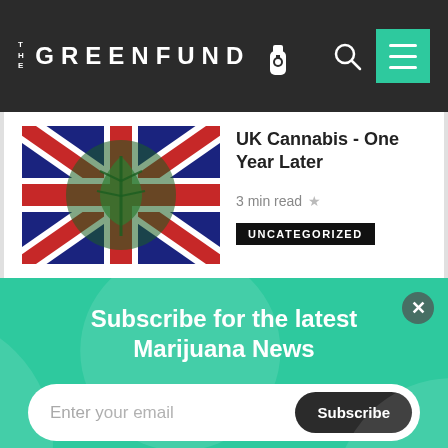THE GREENFUND
UK Cannabis - One Year Later
3 min read ★
UNCATEGORIZED
Subscribe for the latest Marijuana News
Enter your email
Subscribe
Become a Patron below and support us in covering the latest marijuana news!
Become a patron